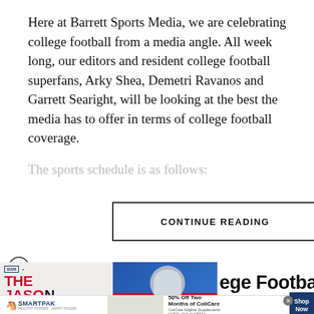Here at Barrett Sports Media, we are celebrating college football from a media angle. All week long, our editors and resident college football superfans, Arky Shea, Demetri Ravanos and Garrett Searight, will be looking at the best the media has to offer in terms of college football coverage.
The sports schedule is as follows:
CONTINUE READING
[Figure (screenshot): Advertisement banner for The Jason Barrett Podcast featuring Paul Finebaum with text 'college Football']
[Figure (screenshot): SmartPak advertisement offering 50% off two months of ColiCare with code COLICARE10]